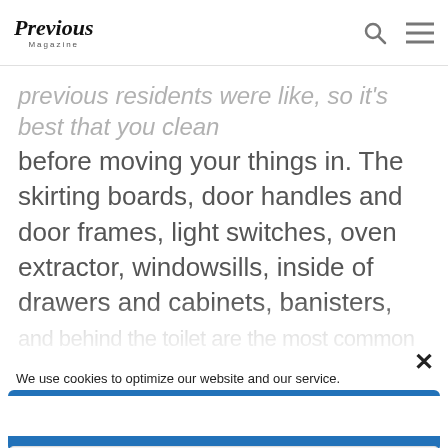Previous Magazine
previous residents were like, so it's best that you clean before moving your things in. The skirting boards, door handles and door frames, light switches, oven extractor, windowsills, inside of drawers and cabinets, banisters, and behind the toilet are the most common places people
We use cookies to optimize our website and our service.
Accept cookies
Functional only
View preferences
Cookie Policy  Privacy Policy